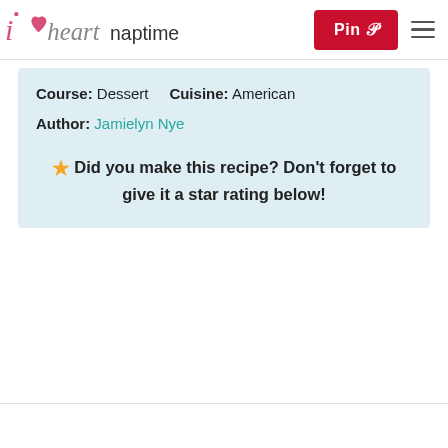i heart naptime — Pin | menu
Course: Dessert    Cuisine: American
Author: Jamielyn Nye
★ Did you make this recipe? Don't forget to give it a star rating below!